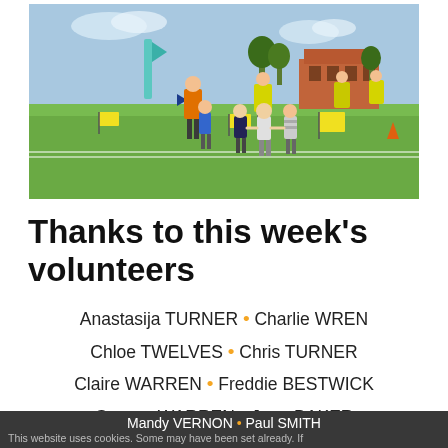[Figure (photo): Children walking hand-in-hand across a grass field during a parkrun event; volunteers in hi-vis vests visible, yellow signs and flags on the course, a building in the background under a blue sky.]
Thanks to this week's volunteers
Anastasija TURNER • Charlie WREN • Chloe TWELVES • Chris TURNER • Claire WARREN • Freddie BESTWICK • George WARREN • Jean BAKER • Joe WARREN • Judy PLATEAU
Mandy VERNON • Paul SMITH
This website uses cookies. Some may have been set already. If